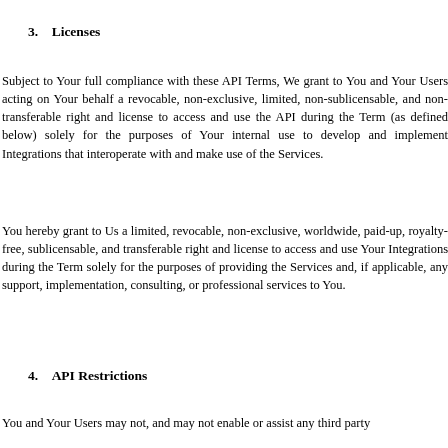3.    Licenses
Subject to Your full compliance with these API Terms, We grant to You and Your Users acting on Your behalf a revocable, non-exclusive, limited, non-sublicensable, and non-transferable right and license to access and use the API during the Term (as defined below) solely for the purposes of Your internal use to develop and implement Integrations that interoperate with and make use of the Services.
You hereby grant to Us a limited, revocable, non-exclusive, worldwide, paid-up, royalty-free, sublicensable, and transferable right and license to access and use Your Integrations during the Term solely for the purposes of providing the Services and, if applicable, any support, implementation, consulting, or professional services to You.
4.    API Restrictions
You and Your Users may not, and may not enable or assist any third party